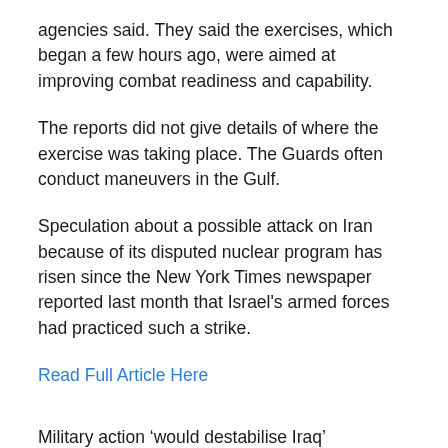agencies said. They said the exercises, which began a few hours ago, were aimed at improving combat readiness and capability.
The reports did not give details of where the exercise was taking place. The Guards often conduct maneuvers in the Gulf.
Speculation about a possible attack on Iran because of its disputed nuclear program has risen since the New York Times newspaper reported last month that Israel's armed forces had practiced such a strike.
Read Full Article Here
Military action ‘would destabilise Iraq’